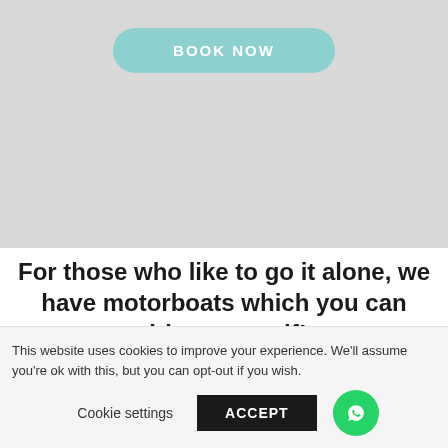[Figure (screenshot): Gray background area with a teal/light-blue rounded 'BOOK NOW' button centered near the top]
For those who like to go it alone, we have motorboats which you can drive yourself!
This website uses cookies to improve your experience. We'll assume you're ok with this, but you can opt-out if you wish.
Cookie settings  ACCEPT